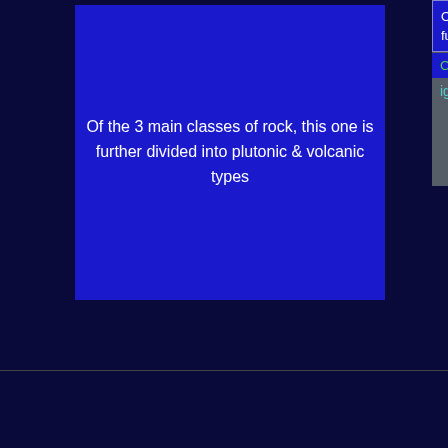[Figure (screenshot): Jeopardy game show screen showing a blue clue card on the left with the text 'Of the 3 main classes of rock, this one is further divided into plutonic & volcanic types', and a right panel answer box showing the same question truncated, with contestants Camille, Ed, Phil, and the answer 'igneous' filled in one input box and an empty second input box.]
Suggest correcti
Show #2051 - Monday, July 5, 1993
Ed Schiffer game 1.
erv Griffin Enterprises logo appears on the game board after the credits.